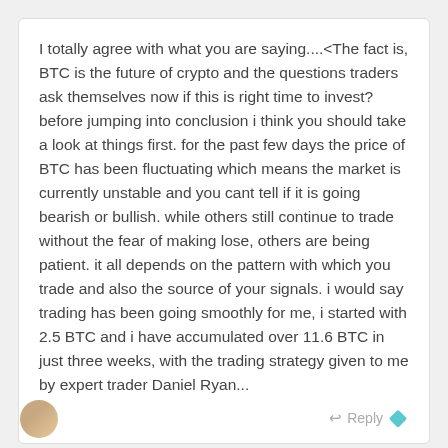I totally agree with what you are saying....<The fact is, BTC is the future of crypto and the questions traders ask themselves now if this is right time to invest? before jumping into conclusion i think you should take a look at things first. for the past few days the price of BTC has been fluctuating which means the market is currently unstable and you cant tell if it is going bearish or bullish. while others still continue to trade without the fear of making lose, others are being patient. it all depends on the pattern with which you trade and also the source of your signals. i would say trading has been going smoothly for me, i started with 2.5 BTC and i have accumulated over 11.6 BTC in just three weeks, with the trading strategy given to me by expert trader Daniel Ryan...